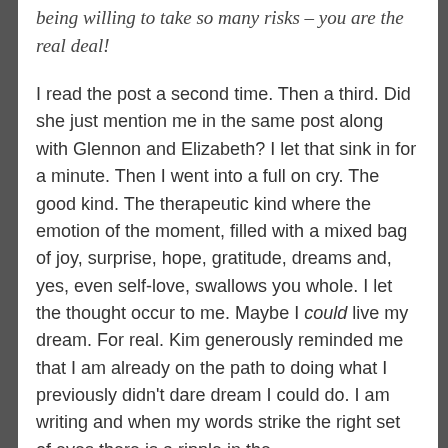being willing to take so many risks – you are the real deal!
I read the post a second time. Then a third. Did she just mention me in the same post along with Glennon and Elizabeth? I let that sink in for a minute. Then I went into a full on cry. The good kind. The therapeutic kind where the emotion of the moment, filled with a mixed bag of joy, surprise, hope, gratitude, dreams and, yes, even self-love, swallows you whole. I let the thought occur to me. Maybe I could live my dream. For real. Kim generously reminded me that I am already on the path to doing what I previously didn't dare dream I could do. I am writing and when my words strike the right set of eyes there is a ripple in the